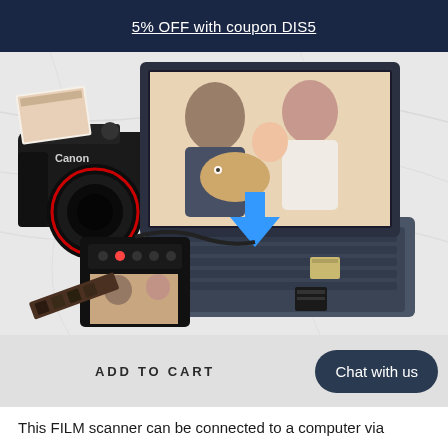5% OFF with coupon DIS5
[Figure (photo): Product photo showing a film scanner device connected to a laptop via USB cable. A Canon DSLR camera is also on the marble table. The laptop screen displays a family photo (man, woman, baby, and dog). The film scanner shows a similar family photo on its display. Film strips and SD cards are visible on the table.]
ADD TO CART
Chat with us
This FILM scanner can be connected to a computer via